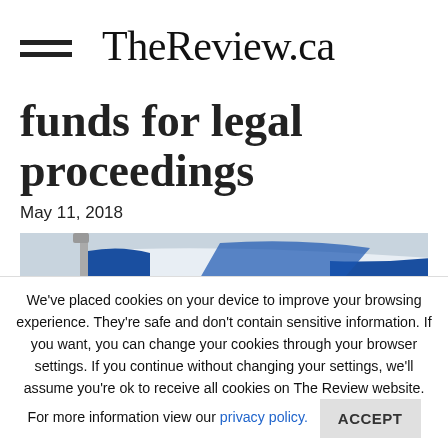TheReview.ca
funds for legal proceedings
May 11, 2018
[Figure (photo): Quebec flag (blue and white fleur-de-lis flag) on a flagpole against a grey sky]
We've placed cookies on your device to improve your browsing experience. They're safe and don't contain sensitive information. If you want, you can change your cookies through your browser settings. If you continue without changing your settings, we'll assume you're ok to receive all cookies on The Review website. For more information view our privacy policy.